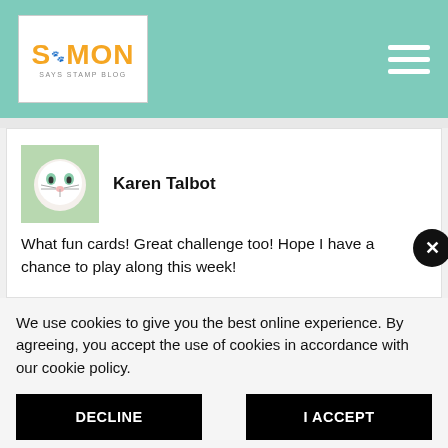Simon Says Stamp Blog
Karen Talbot
What fun cards! Great challenge too! Hope I have a chance to play along this week!
We use cookies to give you the best online experience. By agreeing, you accept the use of cookies in accordance with our cookie policy.
DECLINE
I ACCEPT
Privacy Policy   Cookie Policy